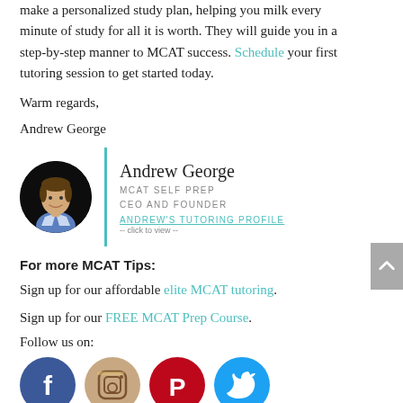make a personalized study plan, helping you milk every minute of study for all it is worth. They will guide you in a step-by-step manner to MCAT success. Schedule your first tutoring session to get started today.
Warm regards,
Andrew George
[Figure (photo): Signature block with circular photo of Andrew George, a young man in a blue shirt, alongside his name, title MCAT Self Prep CEO and Founder, and a link to Andrew's Tutoring Profile with click to view text.]
For more MCAT Tips:
Sign up for our affordable elite MCAT tutoring.
Sign up for our FREE MCAT Prep Course.
Follow us on:
[Figure (illustration): Row of four social media icons: Facebook (blue), Instagram (beige/orange), Pinterest (red), Twitter (blue).]